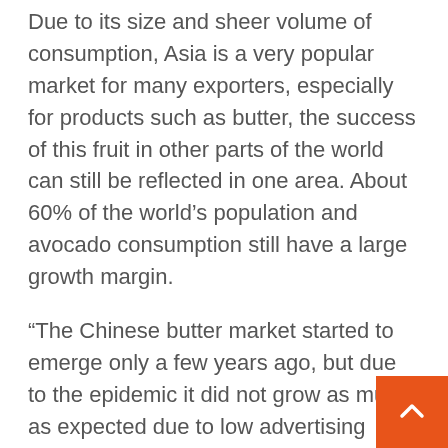Due to its size and sheer volume of consumption, Asia is a very popular market for many exporters, especially for products such as butter, the success of this fruit in other parts of the world can still be reflected in one area. About 60% of the world's population and avocado consumption still have a large growth margin.
“The Chinese butter market started to emerge only a few years ago, but due to the epidemic it did not grow as much as expected due to low advertising opportunities. However, we are confident that there is potential and that China will be one of the fastest growing markets in the coming years. No matter how small, China’s That would mean a significant increase in sales due to the large population, “said Omar T… “Another important thing is that most avocados in China are still sold unripe. In the coming years there will undoubtedly be sales plans for fruits that are ready